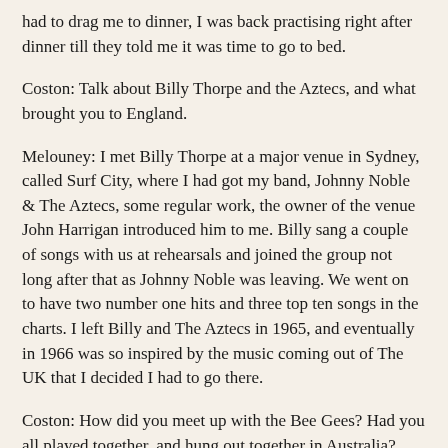had to drag me to dinner, I was back practising right after dinner till they told me it was time to go to bed.
Coston: Talk about Billy Thorpe and the Aztecs, and what brought you to England.
Melouney: I met Billy Thorpe at a major venue in Sydney, called Surf City, where I had got my band, Johnny Noble & The Aztecs, some regular work, the owner of the venue John Harrigan introduced him to me. Billy sang a couple of songs with us at rehearsals and joined the group not long after that as Johnny Noble was leaving. We went on to have two number one hits and three top ten songs in the charts. I left Billy and The Aztecs in 1965, and eventually in 1966 was so inspired by the music coming out of The UK that I decided I had to go there.
Coston: How did you meet up with the Bee Gees? Had you all played together, and hung out together in Australia?
Melouney: I knew The Bee Gees in Australia, we had met at TV shows and gigs and I became friendly with them. I did some recording with them just before I left for The UK. They said they